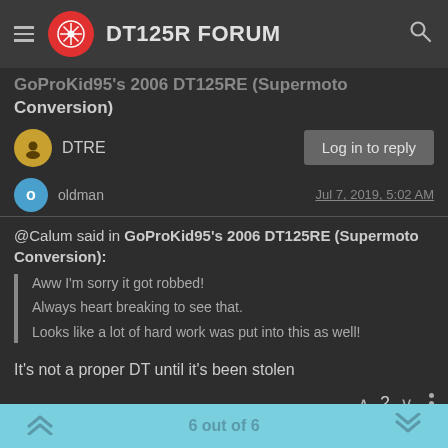DT125R FORUM
GoProKid95's 2006 DT125RE (Supermoto Conversion)
DTRE
oldman  Jul 7, 2019, 5:02 AM
@Calum said in GoProKid95's 2006 DT125RE (Supermoto Conversion):
Aww I'm sorry it got robbed!
Always heart breaking to see that.
Looks like a lot of hard work was put into this as well!
It's not a proper DT until it's been stolen
6 out of 6